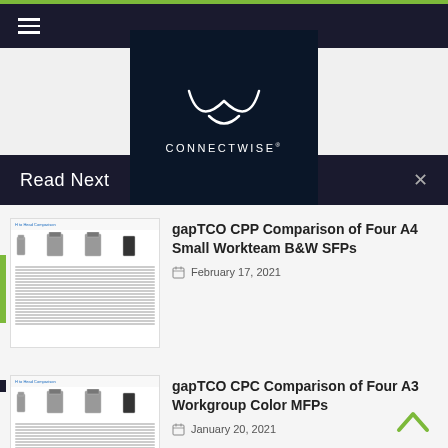[Figure (logo): ConnectWise logo with stylized W mark on dark navy background]
Read Next
[Figure (screenshot): Thumbnail of Head-to-Head Comparison document showing four printer products]
gapTCO CPP Comparison of Four A4 Small Workteam B&W SFPs
February 17, 2021
[Figure (screenshot): Thumbnail of Head-to-Head Comparison document showing four printer products]
gapTCO CPC Comparison of Four A3 Workgroup Color MFPs
January 20, 2021